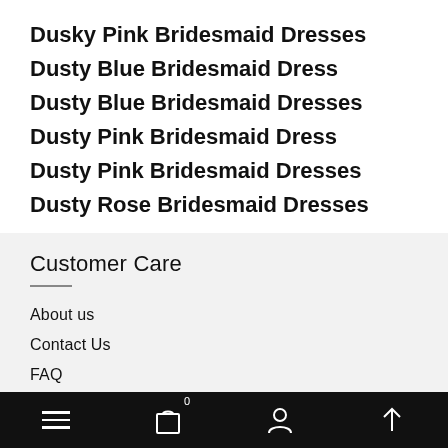Dusky Pink Bridesmaid Dresses
Dusty Blue Bridesmaid Dress
Dusty Blue Bridesmaid Dresses
Dusty Pink Bridesmaid Dress
Dusty Pink Bridesmaid Dresses
Dusty Rose Bridesmaid Dresses
Customer Care
About us
Contact Us
FAQ
Size Chart
Navigation bar with menu, cart (0), profile, and scroll-to-top icons